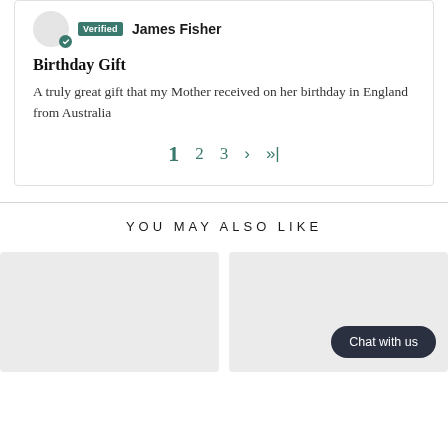Verified James Fisher
Birthday Gift
A truly great gift that my Mother received on her birthday in England from Australia
1 2 3 > >|
YOU MAY ALSO LIKE
[Figure (other): Two product image placeholder cards side by side. The right card has a 'Chat with us' button.]